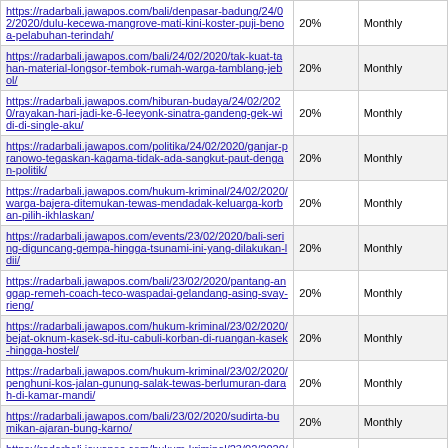| https://radarbali.jawapos.com/bali/denpasar-badung/24/02/2020/dulu-kecewa-mangrove-mati-kini-koster-puji-benoa-pelabuhan-terindah/ | 20% | Monthly |
| https://radarbali.jawapos.com/bali/24/02/2020/tak-kuat-tahan-material-longsor-tembok-rumah-warga-tamblang-jebol/ | 20% | Monthly |
| https://radarbali.jawapos.com/hiburan-budaya/24/02/2020/rayakan-hari-jadi-ke-6-leeyonk-sinatra-gandeng-gek-widi-di-single-aku/ | 20% | Monthly |
| https://radarbali.jawapos.com/politika/24/02/2020/ganjar-pranowo-tegaskan-kagama-tidak-ada-sangkut-paut-dengan-politik/ | 20% | Monthly |
| https://radarbali.jawapos.com/hukum-kriminal/24/02/2020/warga-bajera-ditemukan-tewas-mendadak-keluarga-korban-pilih-ikhlaskan/ | 20% | Monthly |
| https://radarbali.jawapos.com/events/23/02/2020/bali-sering-diguncang-gempa-hingga-tsunami-ini-yang-dilakukan-ldii/ | 20% | Monthly |
| https://radarbali.jawapos.com/bali/23/02/2020/pantang-anggap-remeh-coach-teco-waspadai-gelandang-asing-svay-rieng/ | 20% | Monthly |
| https://radarbali.jawapos.com/hukum-kriminal/23/02/2020/bejat-oknum-kasek-sd-itu-cabuli-korban-di-ruangan-kasek-hingga-hostel/ | 20% | Monthly |
| https://radarbali.jawapos.com/hukum-kriminal/23/02/2020/penghuni-kos-jalan-gunung-salak-tewas-berlumuran-darah-di-kamar-mandi/ | 20% | Monthly |
| https://radarbali.jawapos.com/bali/23/02/2020/sudirta-bumikan-ajaran-bung-karno/ | 20% | Monthly |
| https://radarbali.jawapos.com/hukum-kriminal/23/02/2020/tak-kunjung-pulang-ibu-muda-warga-karangasem-tewas-di-danau-batur/ | 20% | Monthly |
| https://radarbali.jawapos.com/hukum-kriminal/23/02/2020/sah-cabuli-mantan-siswi-4-tahun-oknum-kasek-sd-di-badung-resmi-tsk/ | 20% | Monthly |
| https://radarbali.jawapos.com/bali/denpasar-badung/23/02/2020/... | 20% | Monthly |